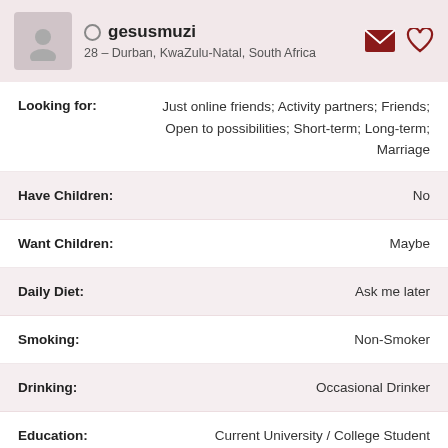gesusmuzi — 28 – Durban, KwaZulu-Natal, South Africa
Looking for: Just online friends; Activity partners; Friends; Open to possibilities; Short-term; Long-term; Marriage
| Attribute | Value |
| --- | --- |
| Have Children: | No |
| Want Children: | Maybe |
| Daily Diet: | Ask me later |
| Smoking: | Non-Smoker |
| Drinking: | Occasional Drinker |
| Education: | Current University / College Student |